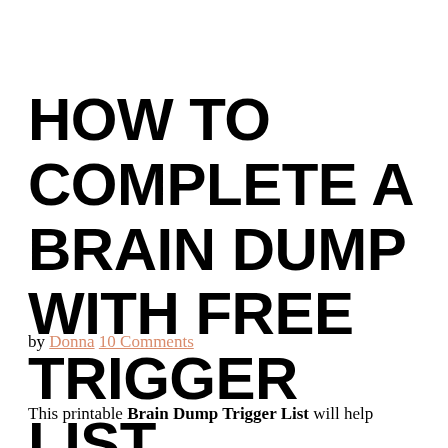HOW TO COMPLETE A BRAIN DUMP WITH FREE TRIGGER LIST
by Donna 10 Comments
This printable Brain Dump Trigger List will help